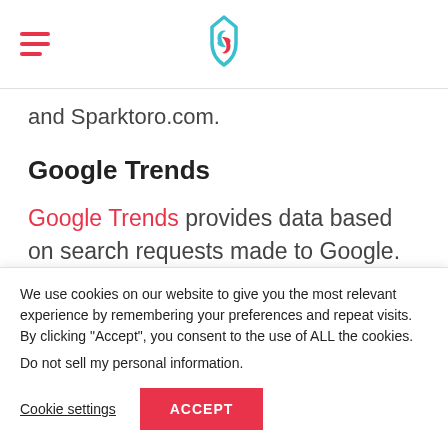[hamburger menu icon] [SerpWatch logo]
and Sparktoro.com.
Google Trends
Google Trends provides data based on search requests made to Google. Marketers can use the data to analyze the latest trends, such as popular search queries
We use cookies on our website to give you the most relevant experience by remembering your preferences and repeat visits. By clicking “Accept”, you consent to the use of ALL the cookies.
Do not sell my personal information.
Cookie settings  ACCEPT